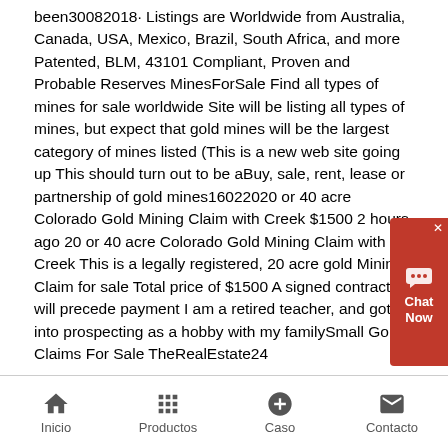been30082018· Listings are Worldwide from Australia, Canada, USA, Mexico, Brazil, South Africa, and more Patented, BLM, 43101 Compliant, Proven and Probable Reserves MinesForSale Find all types of mines for sale worldwide Site will be listing all types of mines, but expect that gold mines will be the largest category of mines listed (This is a new web site going up This should turn out to be aBuy, sale, rent, lease or partnership of gold mines16022020 or 40 acre Colorado Gold Mining Claim with Creek $1500 2 hours ago 20 or 40 acre Colorado Gold Mining Claim with Creek This is a legally registered, 20 acre gold Mining Claim for sale Total price of $1500 A signed contract will precede payment I am a retired teacher, and got into prospecting as a hobby with my familySmall Gold Claims For Sale TheRealEstate24
[Figure (other): Red chat widget with speech bubble icon and 'Chat Now' label, overlaid on the right side of the text]
Inicio   Productos   Caso   Contacto